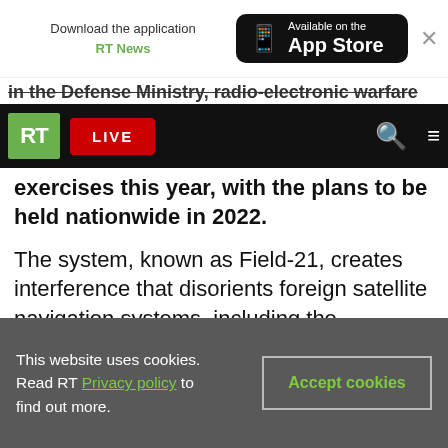[Figure (screenshot): App Store download banner with RT News text and Available on the App Store button, plus close X]
in the Defense Ministry, radio-electronic warfare
[Figure (screenshot): RT News navigation bar with green RT logo, red LIVE button, search icon, and hamburger menu on black background]
exercises this year, with the plans to be held nationwide in 2022.
The system, known as Field-21, creates interference that disorients foreign satellite navigation systems, including the American GPS NAVSTAR. According to experts, the creation of special zones could be used to protect military facilities, as well as industrial areas, making the airspace virtually impenetrable. They believe the new approach will radically increase national security.
This website uses cookies. Read RT Privacy policy to find out more.
Accept cookies